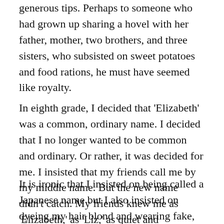generous tips. Perhaps to someone who had grown up sharing a hovel with her father, mother, two brothers, and three sisters, who subsisted on sweet potatoes and food rations, he must have seemed like royalty.
In eighth grade, I decided that 'Elizabeth' was a common, ordinary name. I decided that I no longer wanted to be common and ordinary. Or rather, it was decided for me. I insisted that my friends call me by my middle name. But the new name didn't catch. My friends knew me as 'Elizabeth,' as 'Liz,' as quiet and unassuming and eager to impress. At that age, friends don't let you change so easily.
It is ironic that I insisted on being called a Japanese name but I also insisted on dyeing my hair blond and wearing fake, dark-rimmed glasses that hid the shape of my eyes and lack of bridge on my nose. I remember begging my parents to buy me fake, blue-tinted contacts. They refused on the grounds of expense and frivolity. They didn't notice the